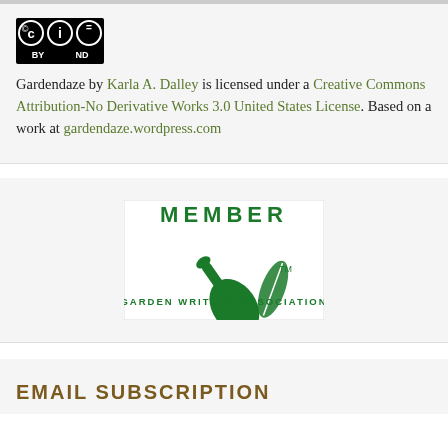[Figure (logo): Creative Commons BY-ND license badge with circle C, circle i, and circle equals symbols, with BY and ND text, black and white]
Gardendaze by Karla A. Dalley is licensed under a Creative Commons Attribution-No Derivative Works 3.0 United States License. Based on a work at gardendaze.wordpress.com
[Figure (logo): Garden Writers Association Member badge — green trowel and leaf illustration with MEMBER text above and GARDEN WRITERS ASSOCIATION below, with TM mark]
EMAIL SUBSCRIPTION